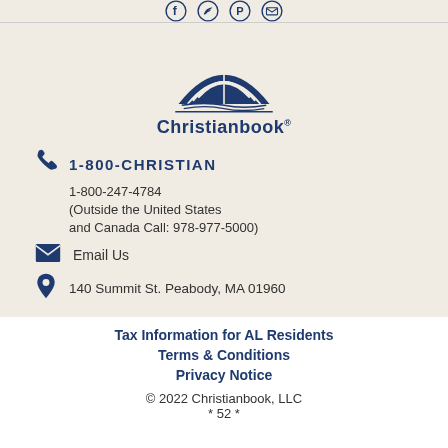[Figure (logo): Christianbook logo with open book under sun/arch shape, dark navy blue, with 'Christianbook' text below]
1-800-CHRISTIAN
1-800-247-4784
(Outside the United States and Canada Call: 978-977-5000)
Email Us
140 Summit St. Peabody, MA 01960
Tax Information for AL Residents
Terms & Conditions
Privacy Notice
© 2022 Christianbook, LLC
* 52 *